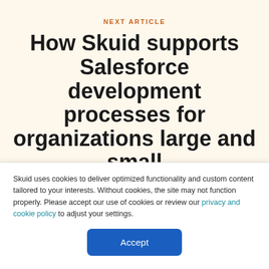NEXT ARTICLE
How Skuid supports Salesforce development processes for organizations large and small
Skuid uses cookies to deliver optimized functionality and custom content tailored to your interests. Without cookies, the site may not function properly. Please accept our use of cookies or review our privacy and cookie policy to adjust your settings.